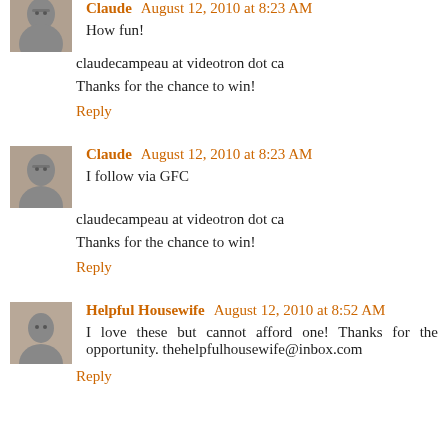[Figure (photo): Avatar photo of Claude (grayscale portrait, woman with glasses), top cropped]
Claude  August 12, 2010 at 8:23 AM
How fun!
claudecampeau at videotron dot ca
Thanks for the chance to win!
Reply
[Figure (photo): Avatar photo of Claude (grayscale portrait, woman with glasses)]
Claude  August 12, 2010 at 8:23 AM
I follow via GFC
claudecampeau at videotron dot ca
Thanks for the chance to win!
Reply
[Figure (photo): Avatar photo of Helpful Housewife (grayscale portrait)]
Helpful Housewife  August 12, 2010 at 8:52 AM
I love these but cannot afford one! Thanks for the opportunity. thehelpfulhousewife@inbox.com
Reply